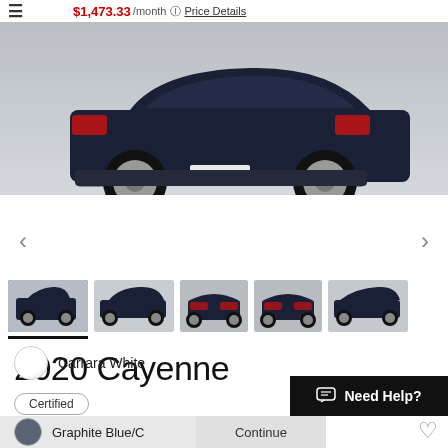≡  $1,473.33/month ⓢ Price Details
[Figure (photo): Rear three-quarter view of a dark navy blue 2020 Porsche Cayenne SUV against a gray background]
[Figure (photo): Thumbnail gallery of 5 views of the 2020 Porsche Cayenne: rear three-quarter, side, front, rear, and side three-quarter views]
2020 Cayenne
Certified
at Porsche Riverside
Delivery within 125 miles in the state of California
Carrara White
Graphite Blue/C
Continue
💬 Need Help?